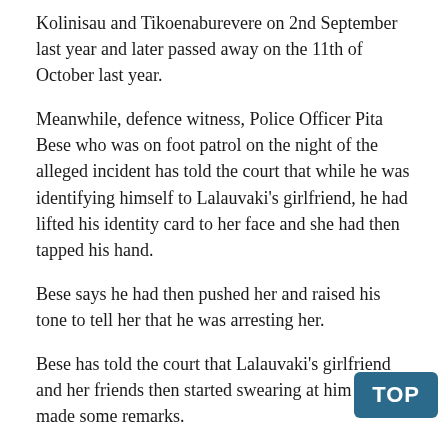Kolinisau and Tikoenaburevere on 2nd September last year and later passed away on the 11th of October last year.
Meanwhile, defence witness, Police Officer Pita Bese who was on foot patrol on the night of the alleged incident has told the court that while he was identifying himself to Lalauvaki's girlfriend, he had lifted his identity card to her face and she had then tapped his hand.
Bese says he had then pushed her and raised his tone to tell her that he was arresting her.
Bese has told the court that Lalauvaki's girlfriend and her friends then started swearing at him and made some remarks.
During cross-examination by DPP Lawyer Meli Vosawale, Bese did not agree that without raising his